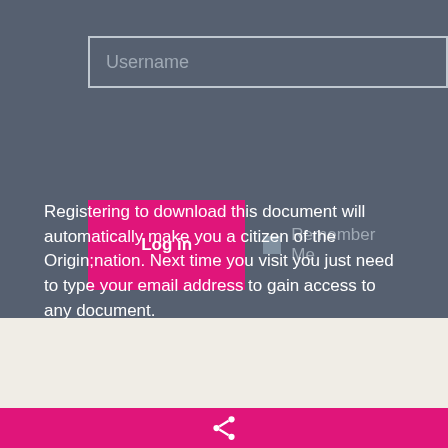[Figure (screenshot): Username text input field with placeholder text 'Username', styled with a border on a dark gray background]
[Figure (screenshot): Log in button (magenta/pink) and Remember Me checkbox row]
Registering to download this document will automatically make you a citizen of the Origin;nation. Next time you visit you just need to type your email address to gain access to any document.
[Figure (screenshot): Light beige footer area with a pink scroll-to-top button on the right]
[Figure (screenshot): Magenta bottom bar with a share icon in the center]